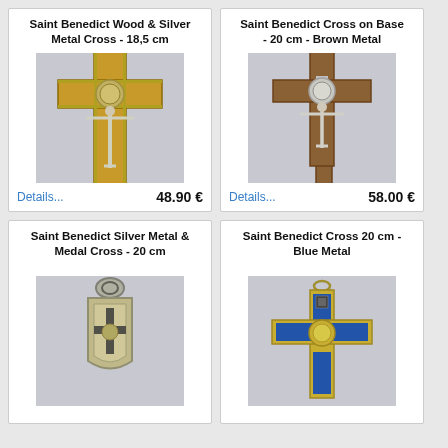Saint Benedict Wood & Silver Metal Cross - 18,5 cm
[Figure (photo): Saint Benedict Wood & Silver Metal Cross, 18.5cm - yellow/gold wooden cross with silver metal Christ figure and Saint Benedict medal]
Details...  48.90 €
Saint Benedict Cross on Base - 20 cm - Brown Metal
[Figure (photo): Saint Benedict Cross on Base, 20cm, Brown Metal - tall brown cross on pedestal base with silver Christ figure and Saint Benedict medal]
Details...  58.00 €
Saint Benedict Silver Metal & Medal Cross - 20 cm
[Figure (photo): Saint Benedict Silver Metal & Medal Cross, 20cm - silver metal pendant cross with Saint Benedict medal]
Saint Benedict Cross 20 cm - Blue Metal
[Figure (photo): Saint Benedict Cross 20cm Blue Metal - cross with blue enamel panels and gold/silver metal accents]